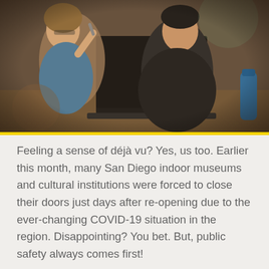[Figure (photo): Two young people (a woman with glasses and a man in a dark t-shirt) sitting at a table, smiling and looking at a laptop together. Warm indoor lighting, blurred background.]
Feeling a sense of déjà vu? Yes, us too. Earlier this month, many San Diego indoor museums and cultural institutions were forced to close their doors just days after re-opening due to the ever-changing COVID-19 situation in the region. Disappointing? You bet. But, public safety always comes first!
Fortunately, our local museums remain committed to